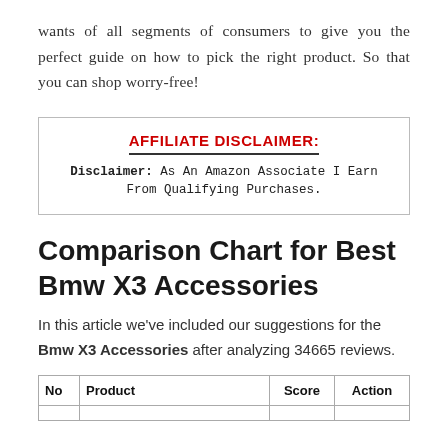wants of all segments of consumers to give you the perfect guide on how to pick the right product. So that you can shop worry-free!
AFFILIATE DISCLAIMER: Disclaimer: As An Amazon Associate I Earn From Qualifying Purchases.
Comparison Chart for Best Bmw X3 Accessories
In this article we've included our suggestions for the Bmw X3 Accessories after analyzing 34665 reviews.
| No | Product | Score | Action |
| --- | --- | --- | --- |
|  |  |  |  |